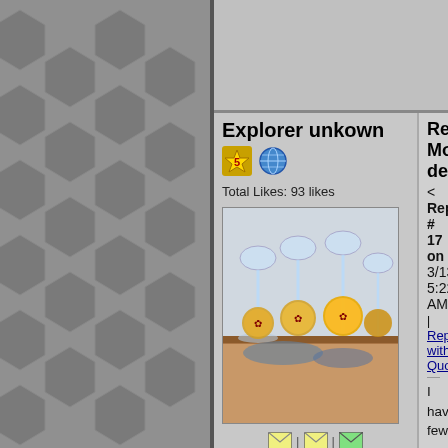Explorer unkown
Total Likes: 93 likes
[Figure (photo): Photo of decorative glass ornaments on a shelf]
Re: Motion detectors
< Reply # 17 on 3/13/2019 5:22 AM
Reply with Quote
I have few questions, Theres a locat they are, i figured there two sets one attach videos to what im talking abo
even though the video duration is 2 from the first video alarm went off a
Part1
https://www.youtub...atch?v=roxJbI
in the second video at same location and a half hours, at 3:29 i set off the off another low frequency alarm wh location.
part2
https://www.youtub...atch?v=oPlifC
now in the basement morgue at 40:4 side wall there seems to be a slo